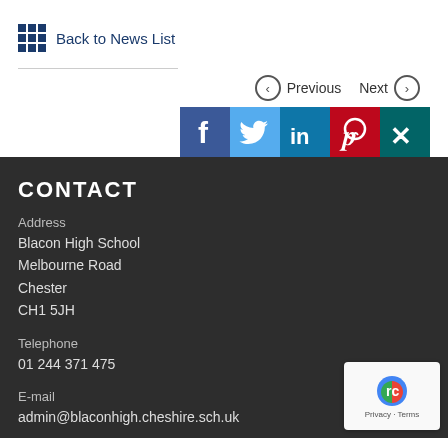Back to News List
Previous   Next
[Figure (other): Social media share icons: Facebook (blue), Twitter (light blue), LinkedIn (teal), Pinterest (red), XING (dark teal)]
CONTACT
Address
Blacon High School
Melbourne Road
Chester
CH1 5JH
Telephone
01 244 371 475
E-mail
admin@blaconhigh.cheshire.sch.uk